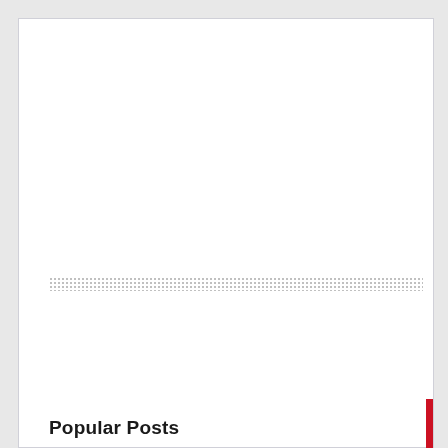[Figure (other): Dotted/stippled horizontal bar divider element spanning most of the page width]
Popular Posts